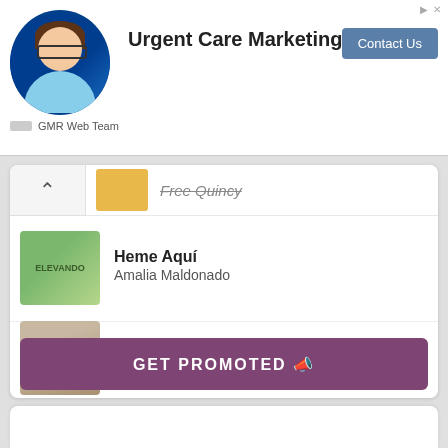[Figure (screenshot): Ad banner for Urgent Care Marketing with profile photo, title, and Contact Us button]
Urgent Care Marketing
GMR Web Team
Free Quincy
Heme Aquí
Amalia Maldonado
I Hope I See You Again
Ayenn Legagneur Stark
I Got Baby Fever!
Tina Knowledgeable Peden
Olore
Olu Akande
GET PROMOTED